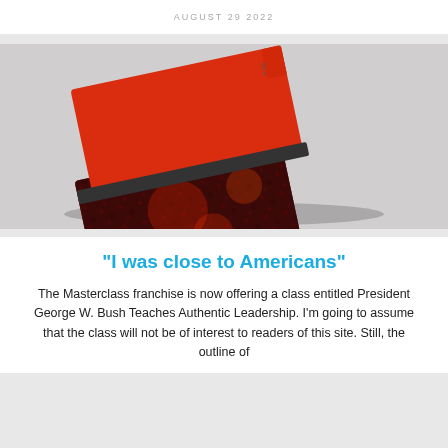AUGUST 29 2022
[Figure (photo): Photo of a red and dark notebook/journal with an elastic band closure, placed at an angle on a light gray background]
"I was close to Americans"
The Masterclass franchise is now offering a class entitled President George W. Bush Teaches Authentic Leadership. I'm going to assume that the class will not be of interest to readers of this site. Still, the outline of